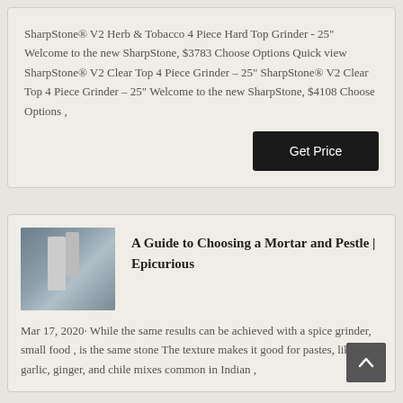SharpStone® V2 Herb & Tobacco 4 Piece Hard Top Grinder - 25" Welcome to the new SharpStone, $3783 Choose Options Quick view SharpStone® V2 Clear Top 4 Piece Grinder – 25" SharpStone® V2 Clear Top 4 Piece Grinder – 25" Welcome to the new SharpStone, $4108 Choose Options ,
Get Price
[Figure (photo): Industrial facility or equipment, possibly a grinder or processing plant]
A Guide to Choosing a Mortar and Pestle | Epicurious
Mar 17, 2020· While the same results can be achieved with a spice grinder, small food , is the same stone The texture makes it good for pastes, like the garlic, ginger, and chile mixes common in Indian ,